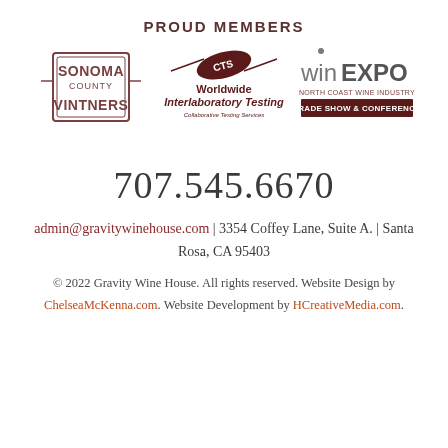PROUD MEMBERS
[Figure (logo): Three logos side by side: Sonoma County Vintners stamp logo, CTS Worldwide Interlaboratory Testing logo, and WinEXPO North Coast Wine Industry Trade Show & Conference logo]
707.545.6670
admin@gravitywinehouse.com | 3354 Coffey Lane, Suite A. | Santa Rosa, CA 95403
© 2022 Gravity Wine House. All rights reserved. Website Design by ChelseaMcKenna.com. Website Development by HCreativeMedia.com.